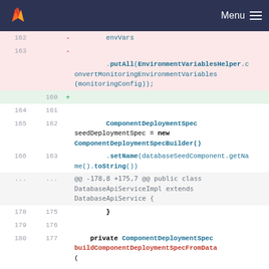GitLab Menu
[Figure (screenshot): GitLab code diff view showing Java code changes. Deleted lines (pink background) show envVars, putAll(EnvironmentVariablesHelper.convertMonitoringEnvironmentVariables(monitoringConfig)) lines. Added line (green background) shows +. Context lines show ComponentDeploymentSpec seedDeploymentSpec = new ComponentDeploymentSpecBuilder(), setName(databaseSeedComponent.getName().toString()), hunk header @@ -178,8 +175,7 @@ public class DatabaseApiServiceImpl extends DatabaseApiService {, closing brace }, blank lines, and private ComponentDeploymentSpec buildComponentDeploymentSpecFromData( method.]